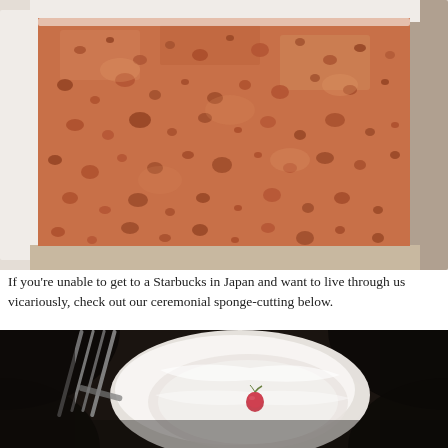[Figure (photo): Close-up cross-section of a pink/salmon-colored sponge cake with white cream frosting on the sides and top, showing the porous airy texture of the cake interior.]
If you're unable to get to a Starbucks in Japan and want to live through us vicariously, check out our ceremonial sponge-cutting below.
[Figure (photo): Dark atmospheric photo of a fork/tongs cutting into a white cake on a white plate, with a small red strawberry or berry decoration visible on the plate, set against a dark background.]